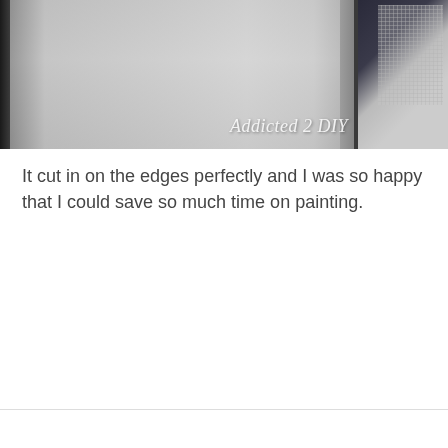[Figure (photo): A photo of a painted interior wall near a window, showing the edge where the wall meets the window frame. A white electrical component is visible on the window sill. Text watermark reads 'Addicted 2 DIY' in the lower right of the image.]
It cut in on the edges perfectly and I was so happy that I could save so much time on painting.